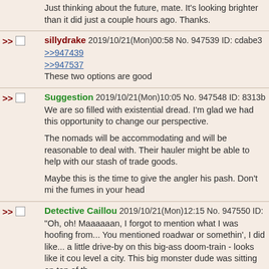Just thinking about the future, mate. It's looking brighter than it did just a couple hours ago. Thanks.
sillydrake 2019/10/21(Mon)00:58 No. 947539 ID: cdabe3
>>947439
>>947537
These two options are good
Suggestion 2019/10/21(Mon)10:05 No. 947548 ID: 8313b0
We are so filled with existential dread. I'm glad we had this opportunity to change our perspective.
The nomads will be accommodating and will be reasonable to deal with. Their hauler might be able to help with our stash of trade goods.
Maybe this is the time to give the angler his pash. Don't mi the fumes in your head
Detective Caillou 2019/10/21(Mon)12:15 No. 947550 ID: ce
"Oh, oh! Maaaaaan, I forgot to mention what I was hoofing from... You mentioned roadwar or somethin', I did like... a little drive-by on this big-ass doom-train - looks like it cou level a city. This big monster dude was sitting on top of th